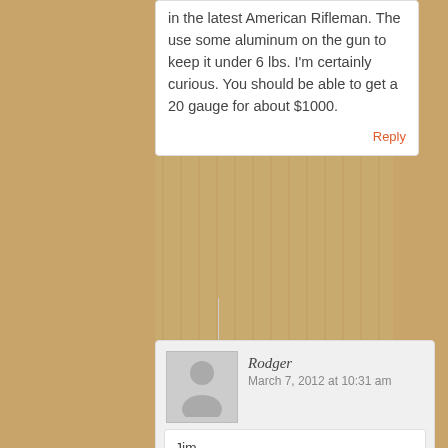in the latest American Rifleman. The use some aluminum on the gun to keep it under 6 lbs. I'm certainly curious. You should be able to get a 20 gauge for about $1000.
Reply
Rodger
March 7, 2012 at 10:31 am
Jim,
Great discussion. I've been looking for my first gun for trap (maybe later skeet)…after just starting to shoot. The Franchi Diamond elite I see at Dick's really looked attractive for an O/U under $1000. A question I have is whether the recoil might be to severe for me…being smaller than you…and an old guy as well.
Reply
Jim
March 7, 2012 at 6:59 pm